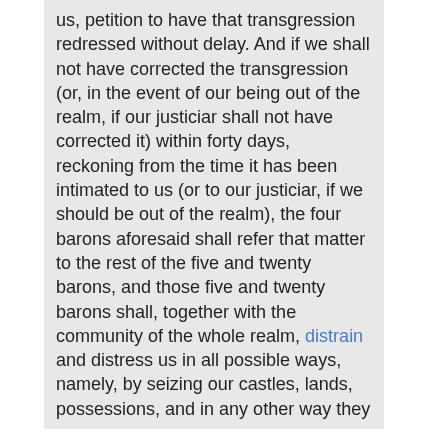us, petition to have that transgression redressed without delay. And if we shall not have corrected the transgression (or, in the event of our being out of the realm, if our justiciar shall not have corrected it) within forty days, reckoning from the time it has been intimated to us (or to our justiciar, if we should be out of the realm), the four barons aforesaid shall refer that matter to the rest of the five and twenty barons, and those five and twenty barons shall, together with the community of the whole realm, distrain and distress us in all possible ways, namely, by seizing our castles, lands, possessions, and in any other way they